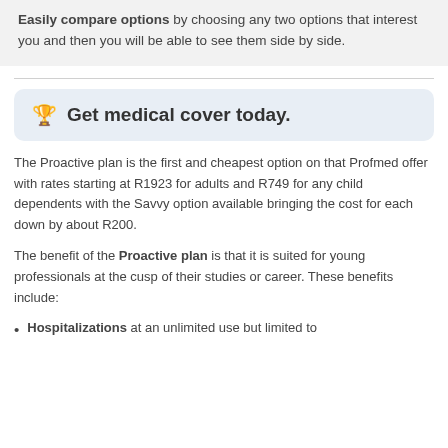Easily compare options by choosing any two options that interest you and then you will be able to see them side by side.
🏆 Get medical cover today.
The Proactive plan is the first and cheapest option on that Profmed offer with rates starting at R1923 for adults and R749 for any child dependents with the Savvy option available bringing the cost for each down by about R200.
The benefit of the Proactive plan is that it is suited for young professionals at the cusp of their studies or career. These benefits include:
Hospitalizations at an unlimited use but limited to